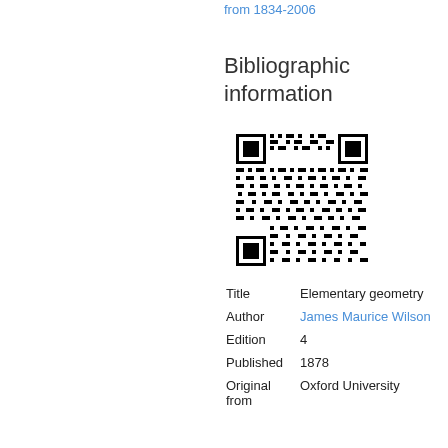from 1834-2006
Bibliographic information
[Figure (other): QR code linking to bibliographic information]
| Title | Elementary geometry |
| Author | James Maurice Wilson |
| Edition | 4 |
| Published | 1878 |
| Original from | Oxford University |